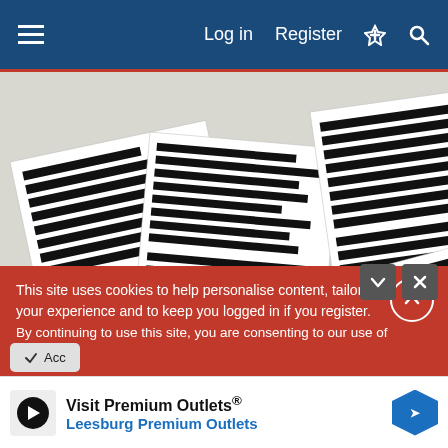Log in  Register
[Figure (photo): Overhead view of multiple printed government documents with heavy black redaction bars covering most of the text, scattered at various angles on a white surface.]
AP
This site uses cookies to help personalise content, tailor your experience and to keep you logged in if you register.
By continuing to use this site, you are consenting to our use of cookies.
Visit Premium Outlets® Leesburg Premium Outlets